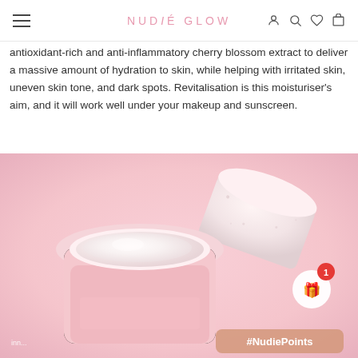NUDIE GLOW
antioxidant-rich and anti-inflammatory cherry blossom extract to deliver a massive amount of hydration to skin, while helping with irritated skin, uneven skin tone, and dark spots. Revitalisation is this moisturiser's aim, and it will work well under your makeup and sunscreen.
[Figure (photo): Open pink jar of cream moisturiser with lid off, on pink background. Hashtag #NudiePoints badge visible at bottom right.]